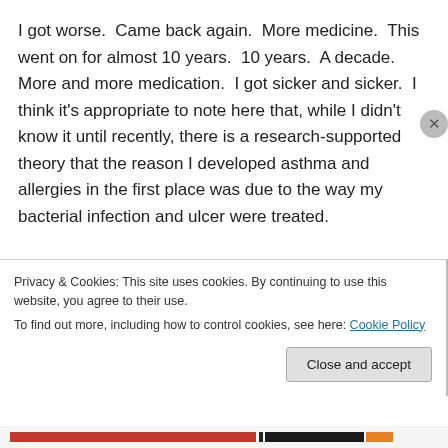I got worse. Came back again. More medicine. This went on for almost 10 years. 10 years. A decade. More and more medication. I got sicker and sicker. I think it's appropriate to note here that, while I didn't know it until recently, there is a research-supported theory that the reason I developed asthma and allergies in the first place was due to the way my bacterial infection and ulcer were treated.
At this point in the story, I was taking 5 different prescription drugs daily and getting 4 injections in my arm
Privacy & Cookies: This site uses cookies. By continuing to use this website, you agree to their use.
To find out more, including how to control cookies, see here: Cookie Policy
Close and accept